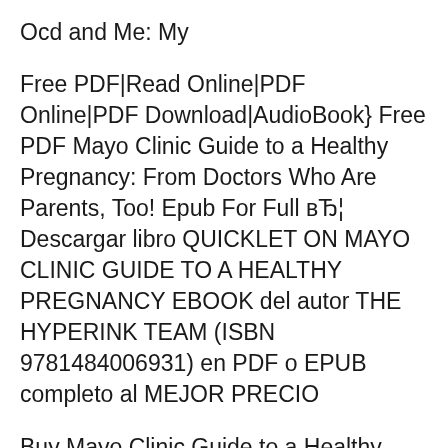Ocd and Me: My
Free PDF|Read Online|PDF Online|PDF Download|AudioBook} Free PDF Mayo Clinic Guide to a Healthy Pregnancy: From Doctors Who Are Parents, Too! Epub For Full вЂ¦ Descargar libro QUICKLET ON MAYO CLINIC GUIDE TO A HEALTHY PREGNANCY EBOOK del autor THE HYPERINK TEAM (ISBN 9781484006931) en PDF o EPUB completo al MEJOR PRECIO
Buy Mayo Clinic Guide to a Healthy Pregnancy from Dymocks online BookStore. Find latest reader reviews and much more at Dymocks Mayo Clinic Guide To A Healthy Pregnancy